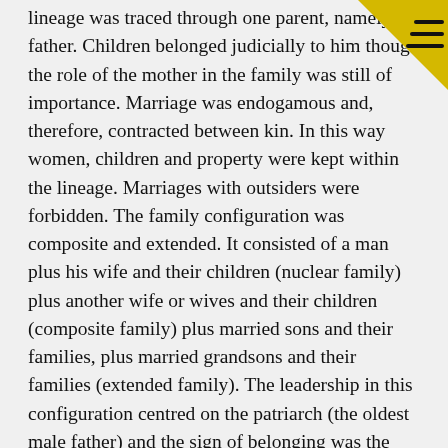lineage was traced through one parent, namely the father. Children belonged judicially to him though the role of the mother in the family was still of importance. Marriage was endogamous and, therefore, contracted between kin. In this way women, children and property were kept within the lineage. Marriages with outsiders were forbidden. The family configuration was composite and extended. It consisted of a man plus his wife and their children (nuclear family) plus another wife or wives and their children (composite family) plus married sons and their families, plus married grandsons and their families (extended family). The leadership in this configuration centred on the patriarch (the oldest male father) and the sign of belonging was the covenant sign of circumcision administered to all males in the family.